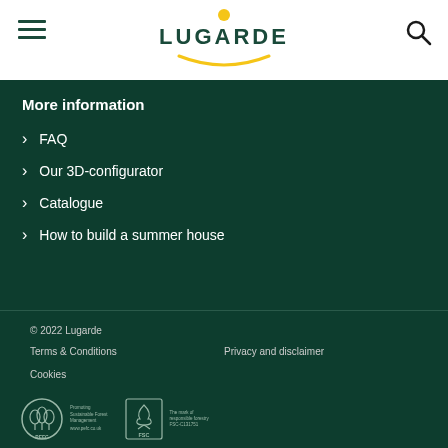[Figure (logo): Lugarde logo with yellow sun dot above and yellow arc underline, dark green text]
More information
FAQ
Our 3D-configurator
Catalogue
How to build a summer house
© 2022 Lugarde
Terms & Conditions
Privacy and disclaimer
Cookies
[Figure (logo): PEFC certification logo with trees icon and text: Promoting Sustainable Forest Management, www.pefc.co.uk]
[Figure (logo): FSC certified logo with tree checkmark icon and text: The mark of responsible forestry FSC-C131751]